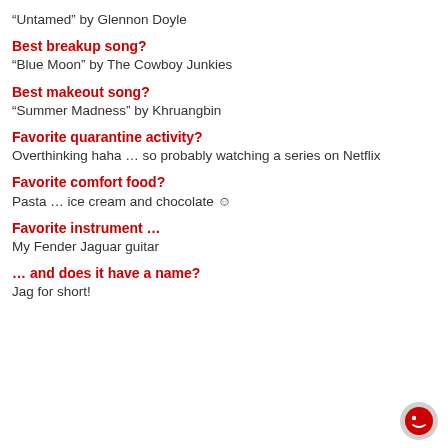“Untamed” by Glennon Doyle
Best breakup song?
“Blue Moon” by The Cowboy Junkies
Best makeout song?
“Summer Madness” by Khruangbin
Favorite quarantine activity?
Overthinking haha … so probably watching a series on Netflix
Favorite comfort food?
Pasta … ice cream and chocolate 🙂
Favorite instrument …
My Fender Jaguar guitar
… and does it have a name?
Jag for short!
[Figure (logo): Red circle with white face icon on grey background]